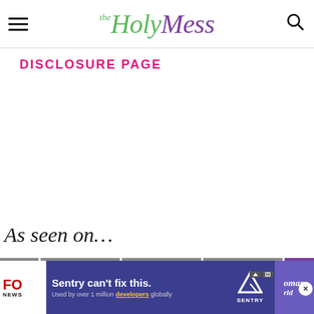The Holy Mess
DISCLOSURE PAGE
As seen on…
[Figure (screenshot): Row of media outlet logos partially visible at bottom of page]
[Figure (screenshot): Sentry advertisement banner at bottom of page with text: Sentry can't fix this. Used by over 1 million developers globally]